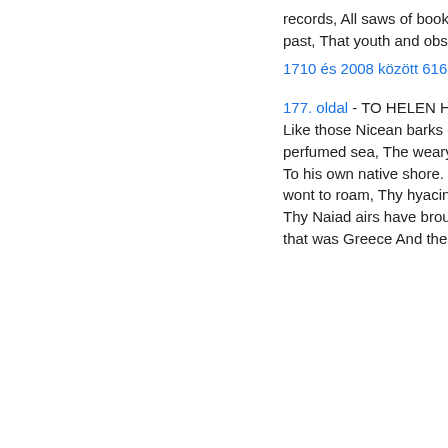records, All saws of books, all forms, all pressures past, That youth and observation copied there...
1710 és 2008 között 616 könyvben jelenik meg
177. oldal - TO HELEN Helen, thy beauty is to me Like those Nicean barks of yore, That gently, o'er a perfumed sea, The weary, wayworn wanderer bore To his own native shore. On desperate seas long wont to roam, Thy hyacinth hair, thy classic face, Thy Naiad airs have brought me home To the glory that was Greece And the grandeur